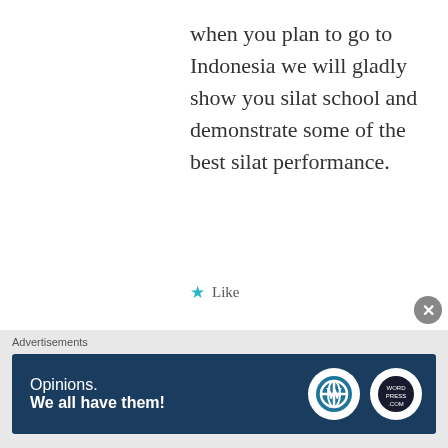when you plan to go to Indonesia we will gladly show you silat school and demonstrate some of the best silat performance.
Like
[Figure (photo): Circular portrait photo of a man with a mustache in black and white, labeled Michael S. Moore]
Michael S. Moore
Advertisements
[Figure (screenshot): Advertisement banner: dark blue background with text 'Opinions. We all have them!' and WordPress logo and another circular logo on the right.]